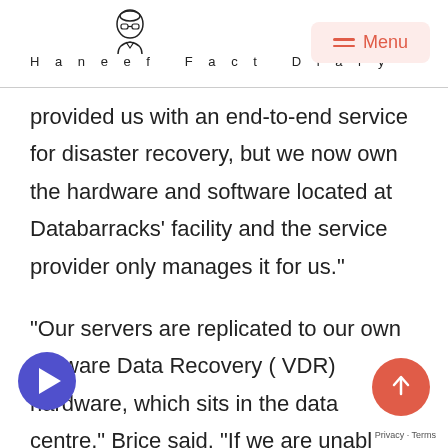Haneef Fact Diary
provided us with an end-to-end service for disaster recovery, but we now own the hardware and software located at Databarracks’ facility and the service provider only manages it for us.”
“Our servers are replicated to our own VMware Data Recovery ( VDR) hardware, which sits in the data centre,” Brice said. “If we are unable to access servers, SANs, or even individual virtual machines we simply turn to the replicated